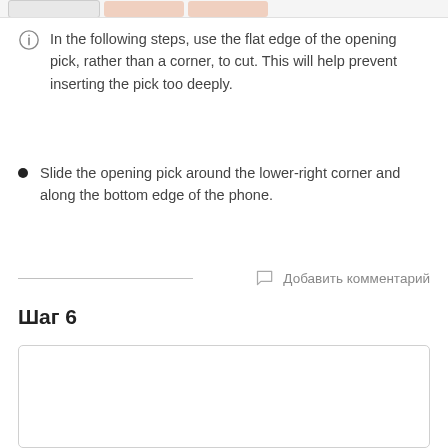[Figure (photo): Top strip showing partial images of three thumbnails (one blank/grey, two showing hand/fingers on phone)]
In the following steps, use the flat edge of the opening pick, rather than a corner, to cut. This will help prevent inserting the pick too deeply.
Slide the opening pick around the lower-right corner and along the bottom edge of the phone.
Добавить комментарий
Шаг 6
[Figure (photo): Large image box for Step 6, empty/white with border]